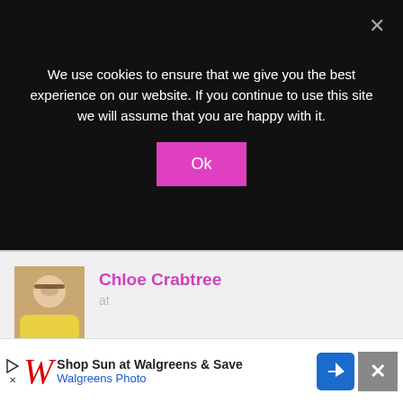We use cookies to ensure that we give you the best experience on our website. If you continue to use this site we will assume that you are happy with it.
Ok
Chloe Crabtree
at
Thanks Sandra! I look forward to adding lots more decoration next year! i was out picking up more garlands on sale today!
[Figure (infographic): Walgreens advertisement banner: Shop Sun at Walgreens & Save, Walgreens Photo with navigation icon and close button]